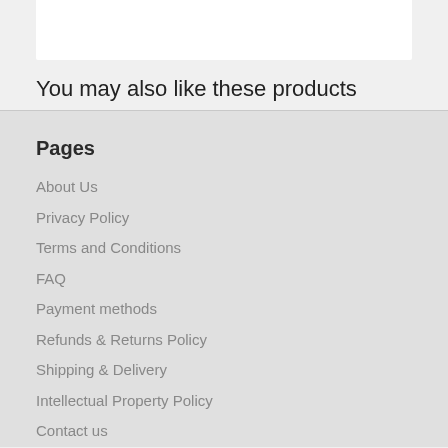You may also like these products
Pages
About Us
Privacy Policy
Terms and Conditions
FAQ
Payment methods
Refunds & Returns Policy
Shipping & Delivery
Intellectual Property Policy
Contact us
Product section
All products